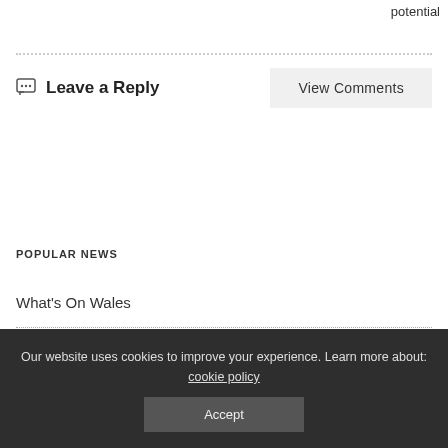potential
Leave a Reply
View Comments
POPULAR NEWS
What's On Wales
Business Events
Our website uses cookies to improve your experience. Learn more about: cookie policy
Accept